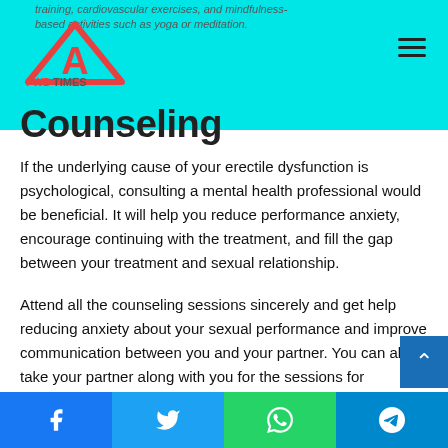training, cardiovascular exercises, and mindfulness-based activities such as yoga or meditation.
[Figure (logo): FWD Times logo with red triangle and 'A' icon above 'FWDTIMES' text]
Counseling
If the underlying cause of your erectile dysfunction is psychological, consulting a mental health professional would be beneficial. It will help you reduce performance anxiety, encourage continuing with the treatment, and fill the gap between your treatment and sexual relationship.
Attend all the counseling sessions sincerely and get help reducing anxiety about your sexual performance and improve communication between you and your partner. You can also take your partner along with you for the sessions for emotional support that you need during the therapy.
Facebook | Twitter | WhatsApp | Telegram share buttons